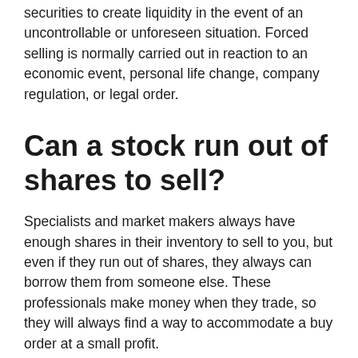securities to create liquidity in the event of an uncontrollable or unforeseen situation. Forced selling is normally carried out in reaction to an economic event, personal life change, company regulation, or legal order.
Can a stock run out of shares to sell?
Specialists and market makers always have enough shares in their inventory to sell to you, but even if they run out of shares, they always can borrow them from someone else. These professionals make money when they trade, so they will always find a way to accommodate a buy order at a small profit.